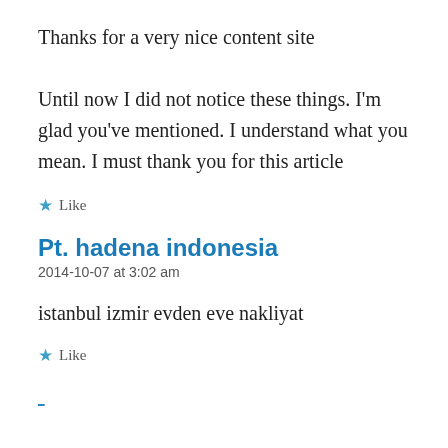Thanks for a very nice content site
Until now I did not notice these things. I'm glad you've mentioned. I understand what you mean. I must thank you for this article
★ Like
Pt. hadena indonesia
2014-10-07 at 3:02 am
istanbul izmir evden eve nakliyat
★ Like